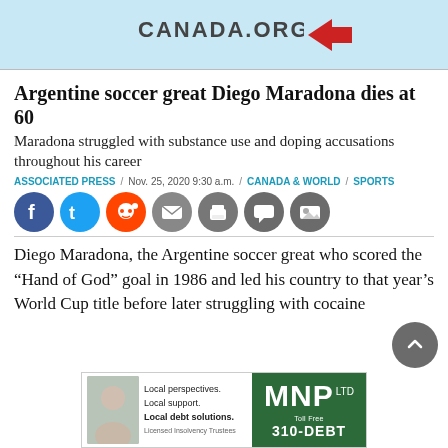[Figure (other): Top advertisement banner with CANADA.ORG text and red arrow logo on light blue background]
Argentine soccer great Diego Maradona dies at 60
Maradona struggled with substance use and doping accusations throughout his career
ASSOCIATED PRESS / Nov. 25, 2020 9:30 a.m. / CANADA & WORLD / SPORTS
[Figure (other): Social media share buttons: Facebook, Twitter, Reddit, Email, Print, Comment, Gallery]
Diego Maradona, the Argentine soccer great who scored the “Hand of God” goal in 1986 and led his country to that year’s World Cup title before later struggling with cocaine
[Figure (other): MNP Ltd advertisement: Local perspectives. Local support. Local debt solutions. Licensed Insolvency Trustees. Toll Free 310-DEBT]